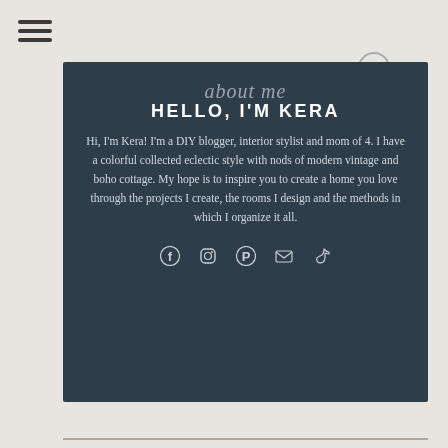≡ (hamburger menu icon)
about me
HELLO, I'M KERA
Hi, I'm Kera! I'm a DIY blogger, interior stylist and mom of 4. I have a colorful collected eclectic style with nods of modern vintage and boho cottage. My hope is to inspire you to create a home you love through the projects I create, the rooms I design and the methods in which I organize it all.
[Figure (infographic): Row of social media icons: Facebook, Instagram, Pinterest, Email, TikTok]